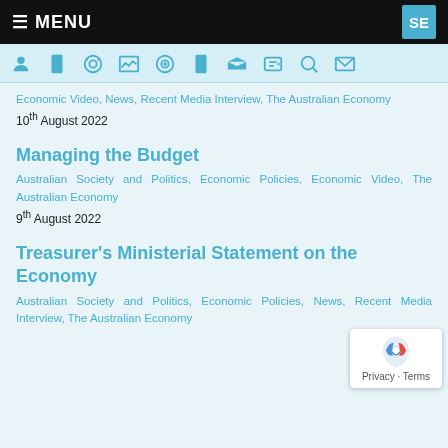≡ MENU  SE
[Figure (infographic): Icon toolbar row with person, clipboard, radio/broadcast, chart, target, book, megaphone, speech bubble, search, and envelope icons in teal/cyan color on light blue background]
Economic Video, News, Recent Media Interview, The Australian Economy
10th August 2022
Managing the Budget
Australian Society and Politics, Economic Policies, Economic Video, The Australian Economy
9th August 2022
Treasurer's Ministerial Statement on the Economy
Australian Society and Politics, Economic Policies, News, Recent Media Interview, The Australian Economy